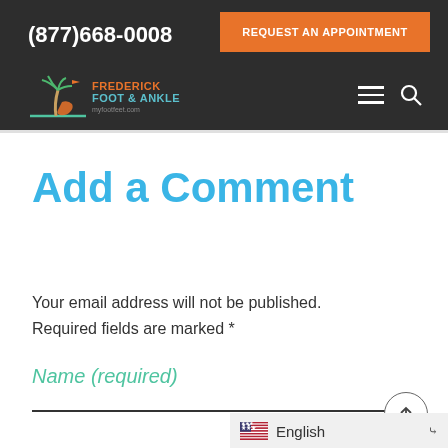(877)668-0008 | REQUEST AN APPOINTMENT
[Figure (logo): Frederick Foot & Ankle logo with palm tree and foot icon, myfootfeet.com]
Add a Comment
Your email address will not be published. Required fields are marked *
Name (required)